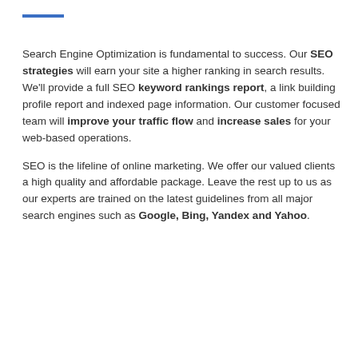Search Engine Optimization is fundamental to success. Our SEO strategies will earn your site a higher ranking in search results. We'll provide a full SEO keyword rankings report, a link building profile report and indexed page information. Our customer focused team will improve your traffic flow and increase sales for your web-based operations.
SEO is the lifeline of online marketing. We offer our valued clients a high quality and affordable package. Leave the rest up to us as our experts are trained on the latest guidelines from all major search engines such as Google, Bing, Yandex and Yahoo.